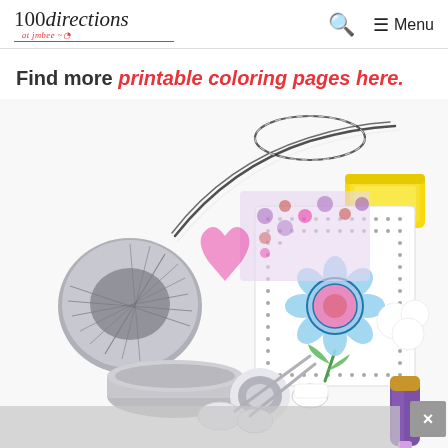100directions at jmbee | Search | Menu
Find more printable coloring pages here.
[Figure (photo): Craft supplies flatlay on white background including a spool of black and white baker's twine, a coloring page with a flower design, a yellow ink pad, a metal tin lid, tape, scissors, cotton balls, and a purple glue stick.]